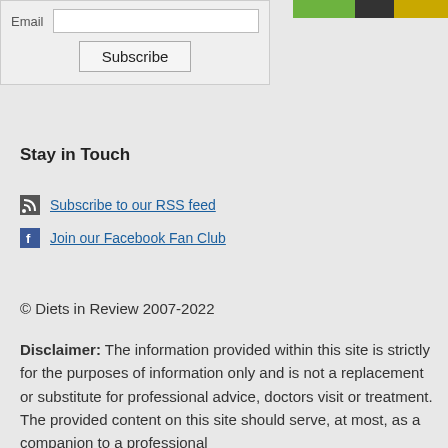[Figure (other): Email subscribe form with input field and Subscribe button on a light grey background]
[Figure (other): Colored banner strip (green, black, yellow) in top right corner]
Stay in Touch
Subscribe to our RSS feed
Join our Facebook Fan Club
© Diets in Review 2007-2022
Disclaimer: The information provided within this site is strictly for the purposes of information only and is not a replacement or substitute for professional advice, doctors visit or treatment. The provided content on this site should serve, at most, as a companion to a professional